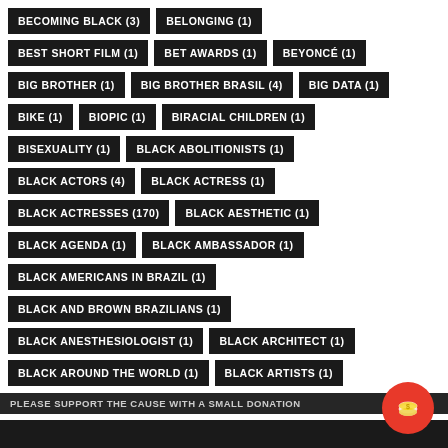BECOMING BLACK (3)
BELONGING (1)
BEST SHORT FILM (1)
BET AWARDS (1)
BEYONCÉ (1)
BIG BROTHER (1)
BIG BROTHER BRASIL (4)
BIG DATA (1)
BIKE (1)
BIOPIC (1)
BIRACIAL CHILDREN (1)
BISEXUALITY (1)
BLACK ABOLITIONISTS (1)
BLACK ACTORS (4)
BLACK ACTRESS (1)
BLACK ACTRESSES (170)
BLACK AESTHETIC (1)
BLACK AGENDA (1)
BLACK AMBASSADOR (1)
BLACK AMERICANS IN BRAZIL (1)
BLACK AND BROWN BRAZILIANS (1)
BLACK ANESTHESIOLOGIST (1)
BLACK ARCHITECT (1)
BLACK AROUND THE WORLD (1)
BLACK ARTISTS (1)
PLEASE SUPPORT THE CAUSE WITH A SMALL DONATION